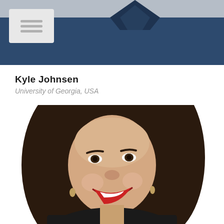[Figure (photo): Partial photo of a person wearing a dark navy/blue shirt, cropped at the top of the page]
[Figure (other): Small grey icon box with three horizontal lines resembling a menu or list icon]
Kyle Johnsen
University of Georgia, USA
[Figure (photo): Headshot of a smiling woman with long dark brown hair, wearing red lipstick and a dark top, on a white background]